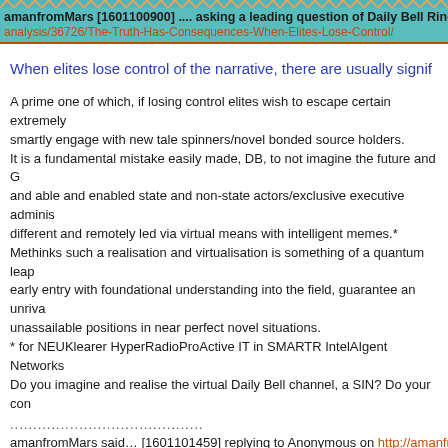amanfromMars [1601100900] .... asking a leading question of Daily Bell Ring analysis/36726/The-Truth-Has-Consequences-When-Elites-Lose-Control/
When elites lose control of the narrative, there are usually signif
A prime one of which, if losing control elites wish to escape certain extremely smartly engage with new tale spinners/novel bonded source holders.
It is a fundamental mistake easily made, DB, to not imagine the future and G and able and enabled state and non-state actors/exclusive executive adminis different and remotely led via virtual means with intelligent memes.*
Methinks such a realisation and virtualisation is something of a quantum leap early entry with foundational understanding into the field, guarantee an unriva unassailable positions in near perfect novel situations.
* for NEUKlearer HyperRadioProActive IT in SMARTR IntelAIgent Networks
Do you imagine and realise the virtual Daily Bell channel, a SIN? Do your con
..........................................
amanfromMars said… [1601101459] replying to Anonymous on http://amanfr
To realise imagination with virtualisation is AIMagICQ Trick and Immaculately Anonymous, and most certainly a Quite Heavenly Cosmic Power and Terrific SurReal Explosive Mix.
10 January 2016 at 14:59